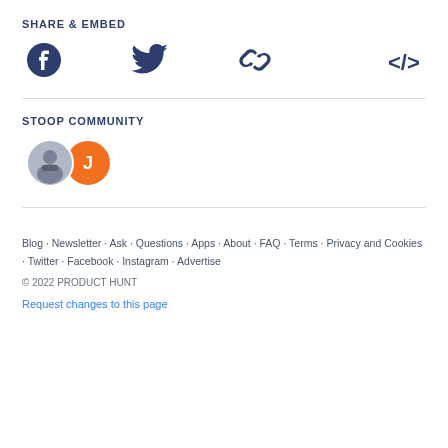SHARE & EMBED
[Figure (infographic): Row of four share/embed icons: Facebook circle icon, Twitter bird icon, link/chain icon, and embed code </> icon, all in dark navy blue.]
STOOP COMMUNITY
[Figure (infographic): Two overlapping circular avatars: a gray photo avatar of a bearded man, and an orange avatar with the letter J.]
Blog · Newsletter · Ask · Questions · Apps · About · FAQ · Terms · Privacy and Cookies · Twitter · Facebook · Instagram · Advertise
© 2022 PRODUCT HUNT
Request changes to this page